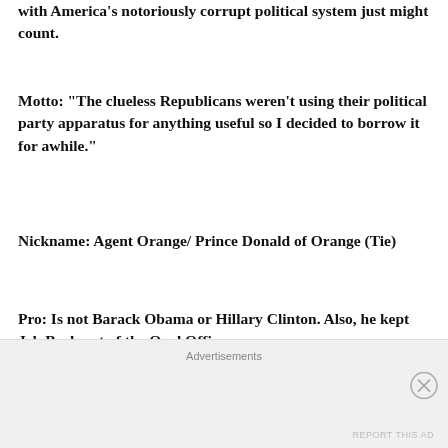with America's notoriously corrupt political system just might count.
Motto: “The clueless Republicans weren’t using their political party apparatus for anything useful so I decided to borrow it for awhile.”
Nickname: Agent Orange/ Prince Donald of Orange (Tie)
Pro: Is not Barack Obama or Hillary Clinton. Also, he kept Jeb Bush out of the Oval Office.
Con: Because he is so hated by the movers and shakers of America’s virtual Third
Advertisements